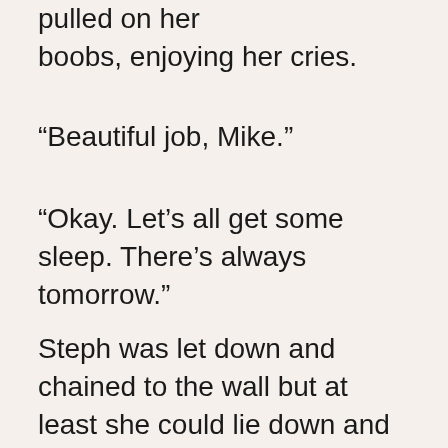pulled on her boobs, enjoying her cries.
“Beautiful job, Mike.”
“Okay. Let’s all get some sleep. There’s always tomorrow.”
Steph was let down and chained to the wall but at least she could lie down and sleep (if the pain from